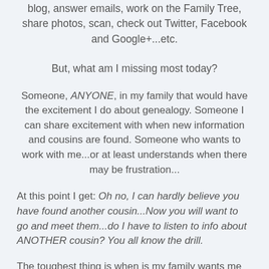blog, answer emails, work on the Family Tree, share photos, scan, check out Twitter, Facebook and Google+...etc.
But, what am I missing most today?
Someone, ANYONE, in my family that would have the excitement I do about genealogy. Someone I can share excitement with when new information and cousins are found. Someone who wants to work with me...or at least understands when there may be frustration...
At this point I get: Oh no, I can hardly believe you have found another cousin...Now you will want to go and meet them...do I have to listen to info about ANOTHER cousin? You all know the drill.
The toughest thing is when is my family wants me